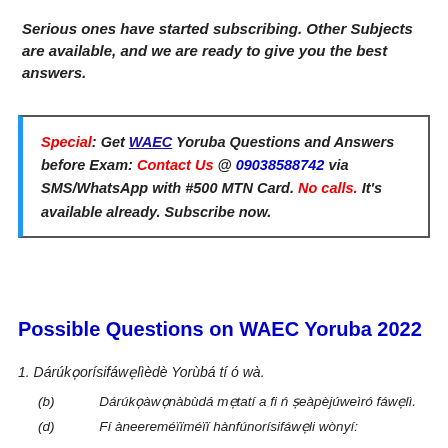Serious ones have started subscribing. Other Subjects are available, and we are ready to give you the best answers.
Special: Get WAEC Yoruba Questions and Answers before Exam: Contact Us @ 09038588742 via SMS/WhatsApp with #500 MTN Card. No calls. It's available already. Subscribe now.
Possible Questions on WAEC Yoruba 2022
1. Dárúkọorísifáwẹlìèdè Yorùbá tí ó wà.
(b) Dárúkọàwọnàbùdá mẹtatí a fi ń ṣeàpèjúweìró fáwẹlì.
(d) Fí àneereméïïméïï hànfúnorísifáwẹli wònyí: